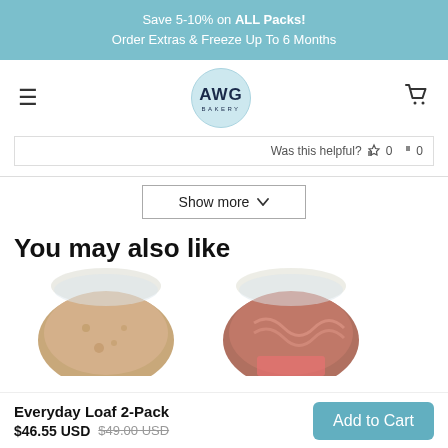Save 5-10% on ALL Packs!
Order Extras & Freeze Up To 6 Months
[Figure (logo): AWG Bakery circular logo with light blue background]
Was this helpful?  0  0
Show more ▼
You may also like
[Figure (photo): Two bread loaf products partially visible in packaging]
Everyday Loaf 2-Pack
$46.55 USD  $49.00 USD